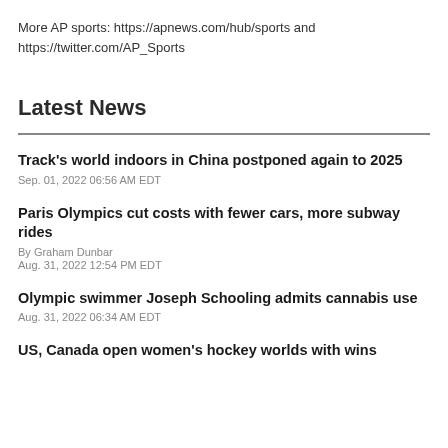More AP sports: https://apnews.com/hub/sports and https://twitter.com/AP_Sports
Latest News
Track's world indoors in China postponed again to 2025
Sep. 01, 2022 06:56 AM EDT
Paris Olympics cut costs with fewer cars, more subway rides
By Graham Dunbar
Aug. 31, 2022 12:54 PM EDT
Olympic swimmer Joseph Schooling admits cannabis use
Aug. 31, 2022 06:34 AM EDT
US, Canada open women's hockey worlds with wins